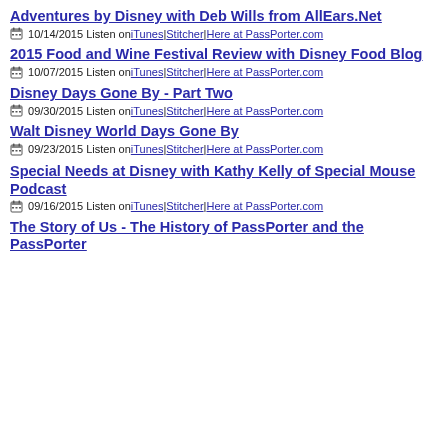Adventures by Disney with Deb Wills from AllEars.Net
10/14/2015 Listen on iTunes | Stitcher | Here at PassPorter.com
2015 Food and Wine Festival Review with Disney Food Blog
10/07/2015 Listen on iTunes | Stitcher | Here at PassPorter.com
Disney Days Gone By - Part Two
09/30/2015 Listen on iTunes | Stitcher | Here at PassPorter.com
Walt Disney World Days Gone By
09/23/2015 Listen on iTunes | Stitcher | Here at PassPorter.com
Special Needs at Disney with Kathy Kelly of Special Mouse Podcast
09/16/2015 Listen on iTunes | Stitcher | Here at PassPorter.com
The Story of Us - The History of PassPorter and the PassPorter